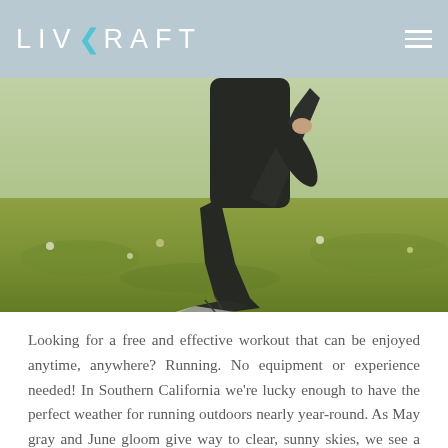LIVKRAFT
[Figure (photo): A person running in black athletic wear through a meadow with wildflowers and grass, viewed from the side/torso down, showing legs mid-stride.]
Looking for a free and effective workout that can be enjoyed anytime, anywhere? Running. No equipment or experience needed! In Southern California we're lucky enough to have the perfect weather for running outdoors nearly year-round. As May gray and June gloom give way to clear, sunny skies, we see a steady rise in runners and with that comes a rise in injuries. Whether you consider yourself a marathoner or you've